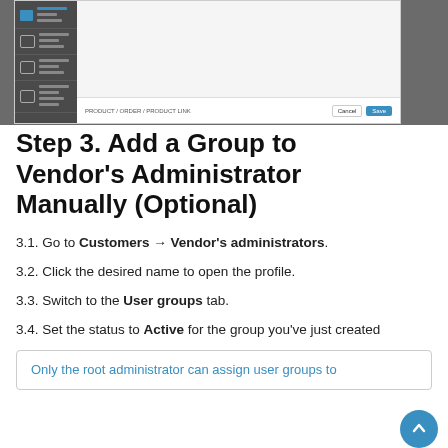[Figure (screenshot): Screenshot of a web application interface showing a sidebar with navigation items and a dialog bar at the bottom with Cancel and Save buttons]
Step 3. Add a Group to Vendor's Administrator Manually (Optional)
3.1. Go to Customers → Vendor's administrators.
3.2. Click the desired name to open the profile.
3.3. Switch to the User groups tab.
3.4. Set the status to Active for the group you've just created
Only the root administrator can assign user groups to